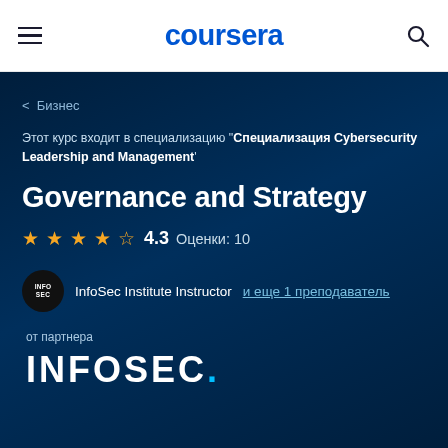coursera
< Бизнес
Этот курс входит в специализацию "Специализация Cybersecurity Leadership and Management'
Governance and Strategy
★★★★☆ 4.3  Оценки: 10
InfoSec Institute Instructor  и еще 1 преподаватель
от партнера
[Figure (logo): INFOSEC logo in large white bold letters]